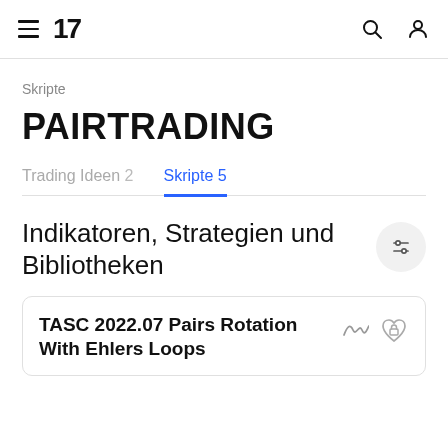TradingView navigation bar with hamburger menu, logo '17', search icon, and user icon
Skripte
PAIRTRADING
Trading Ideen 2   Skripte 5
Indikatoren, Strategien und Bibliotheken
TASC 2022.07 Pairs Rotation With Ehlers Loops